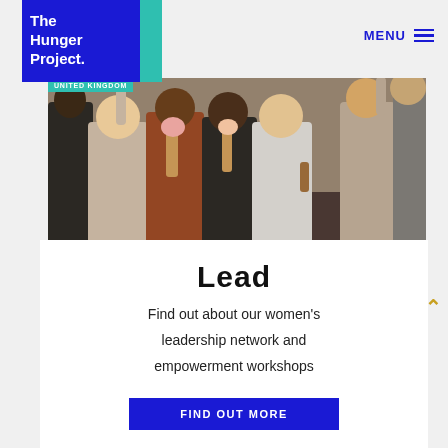[Figure (logo): The Hunger Project logo: white text on dark blue square with teal accent bar]
MENU
[Figure (photo): Group of women celebrating, raising hands and flowers at an event, with 'UNITED KINGDOM' badge overlay]
Lead
Find out about our women's leadership network and empowerment workshops
FIND OUT MORE